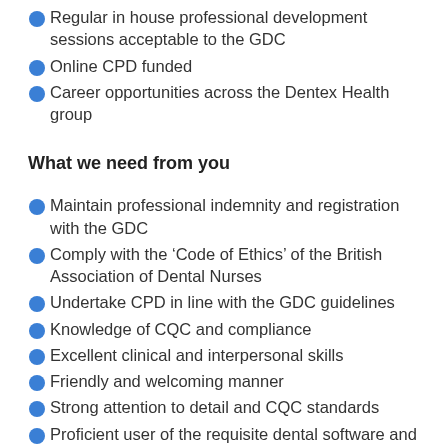Regular in house professional development sessions acceptable to the GDC
Online CPD funded
Career opportunities across the Dentex Health group
What we need from you
Maintain professional indemnity and registration with the GDC
Comply with the ‘Code of Ethics’ of the British Association of Dental Nurses
Undertake CPD in line with the GDC guidelines
Knowledge of CQC and compliance
Excellent clinical and interpersonal skills
Friendly and welcoming manner
Strong attention to detail and CQC standards
Proficient user of the requisite dental software and